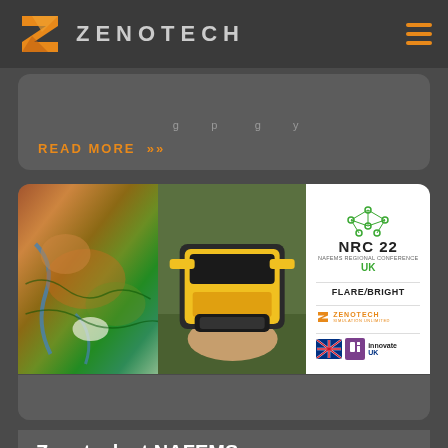ZENOTECH
READ MORE >>
[Figure (photo): Composite image showing a terrain/topography heat map on the left, a hand holding a yellow UAV drone in the center, and logos panel on the right showing NRC 22 UK, FLAREBRIGHT, ZENOTECH, and Innovate UK logos]
Zenotech at NAFEMS on